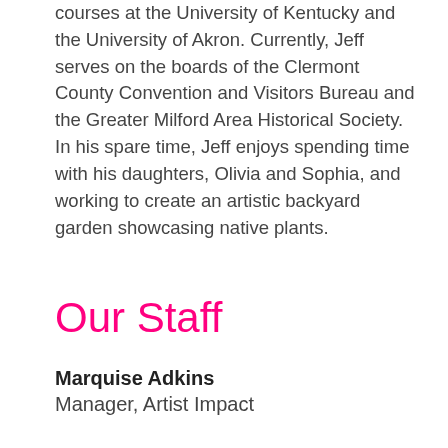courses at the University of Kentucky and the University of Akron. Currently, Jeff serves on the boards of the Clermont County Convention and Visitors Bureau and the Greater Milford Area Historical Society. In his spare time, Jeff enjoys spending time with his daughters, Olivia and Sophia, and working to create an artistic backyard garden showcasing native plants.
Our Staff
Marquise Adkins
Manager, Artist Impact
[Figure (illustration): Black and white line illustration portrait of Marquise Adkins, a woman with curly hair and hoop earrings, shown from the shoulders up, smiling.]